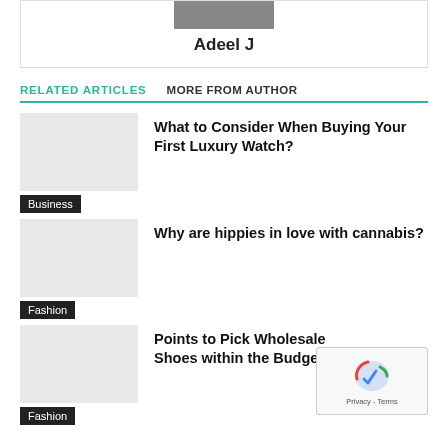Adeel J
RELATED ARTICLES   MORE FROM AUTHOR
What to Consider When Buying Your First Luxury Watch?
Business
Why are hippies in love with cannabis?
Fashion
Points to Pick Wholesale Shoes within the Budget!
Fashion